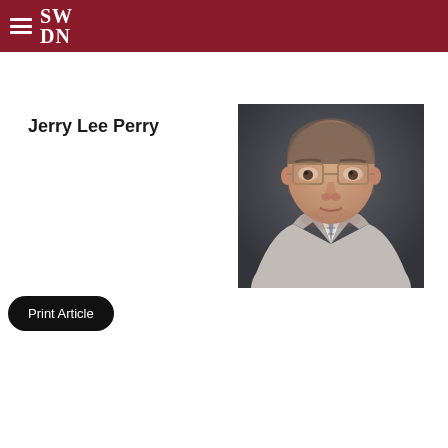SWDN
Jerry Lee Perry
[Figure (photo): Portrait photo of Jerry Lee Perry, an older man wearing glasses and a light grey suit jacket with a striped tie, photographed against a dark background.]
Print Article